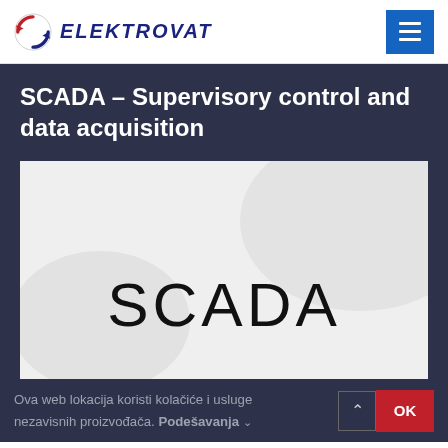[Figure (logo): Elektrovat company logo with circular arrow icon in red and company name in italic bold dark blue]
SCADA – Supervisory control and data acquisition
[Figure (photo): SCADA system page image with large SCADA text in black on light grey/white background]
Ova web lokacija koristi kolačiće i usluge nezavisnih proizvođača. Podešavanja ∨